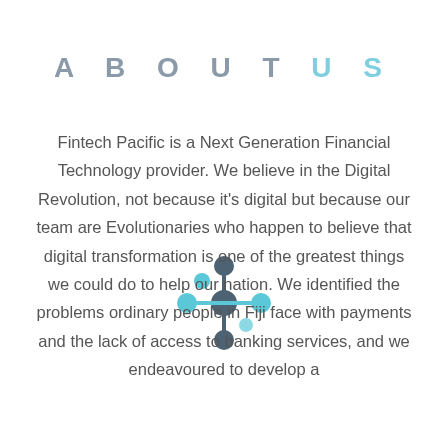ABOUT US
Fintech Pacific is a Next Generation Financial Technology provider. We believe in the Digital Revolution, not because it's digital but because our team are Evolutionaries who happen to believe that digital transformation is one of the greatest things we could do to help our nation. We identified the problems ordinary people in Fiji face with payments and the lack of access to banking services, and we endeavoured to develop a
[Figure (logo): Fintech Pacific network/molecule logo with dark grey and light blue circular nodes connected in a cross/plus pattern]